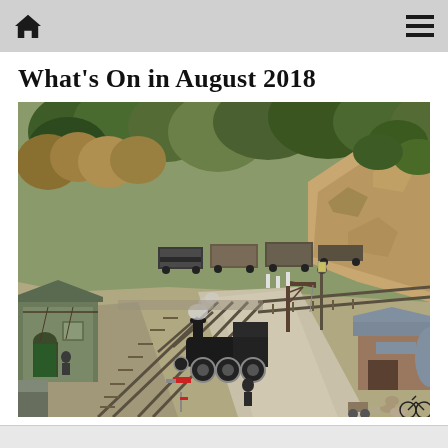What's On in August 2018
[Figure (photo): Aerial view of a detailed model railway layout showing a steam locomotive at a station with goods wagons, railway tracks with junctions, station buildings, a crane, trees, rocky cutting, and figures of workers. The scene depicts a rural British railway goods yard.]